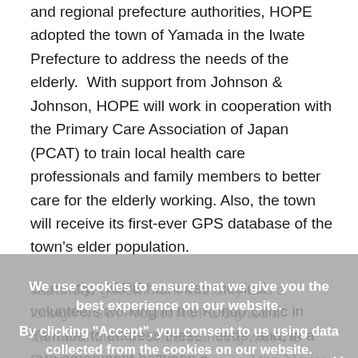and regional prefecture authorities, HOPE adopted the town of Yamada in the Iwate Prefecture to address the needs of the elderly.  With support from Johnson & Johnson, HOPE will work in cooperation with the Primary Care Association of Japan (PCAT) to train local health care professionals and family members to better care for the elderly working. Also, the town will receive its first-ever GPS database of the town's elder population.
Currently, HOPE has three medical volunteers working in the Kondo Clinic in Yamada to address these needs, and, in a rare agreement between a Japanese government authority and a foreign NGO, Project HOPE signed a Memorandum of Understanding with the Governor of Iwate Prefecture and the Mayor of Yamada to further expand its vital work.
We use cookies to ensure that we give you the best experience on our website. By clicking "Accept", you consent to us using data collected from the cookies on our website.